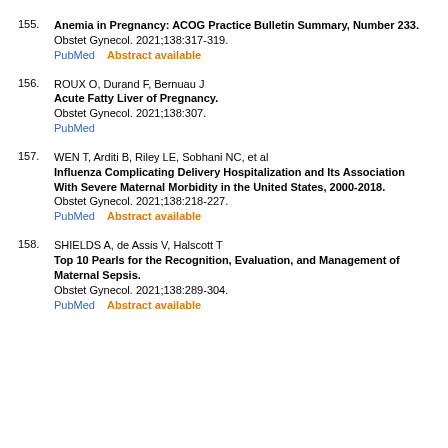155. Anemia in Pregnancy: ACOG Practice Bulletin Summary, Number 233. Obstet Gynecol. 2021;138:317-319. PubMed  Abstract available
156. ROUX O, Durand F, Bernuau J. Acute Fatty Liver of Pregnancy. Obstet Gynecol. 2021;138:307. PubMed
157. WEN T, Arditi B, Riley LE, Sobhani NC, et al. Influenza Complicating Delivery Hospitalization and Its Association With Severe Maternal Morbidity in the United States, 2000-2018. Obstet Gynecol. 2021;138:218-227. PubMed  Abstract available
158. SHIELDS A, de Assis V, Halscott T. Top 10 Pearls for the Recognition, Evaluation, and Management of Maternal Sepsis. Obstet Gynecol. 2021;138:289-304. PubMed  Abstract available